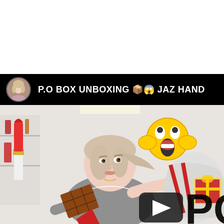[Figure (screenshot): YouTube video thumbnail screenshot. Top white area, then a black channel bar with a circular avatar photo of a blonde woman and the text 'P.O BOX UNBOXING 📦😱 JAZ HAND'. Below is a thumbnail image showing a blonde woman in a grey t-shirt holding a package, surrounded by graphic overlays: a giant red lipstick, a chocolate bar, a red diamond shape, a 😱 screaming emoji, a gift box, a YouTube play button, and large block letters 'PO' in the bottom right corner.]